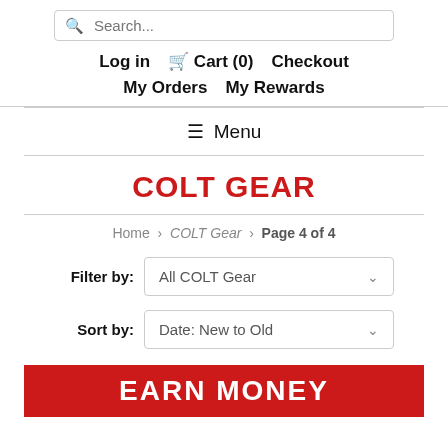Search... Log in  Cart (0)  Checkout  My Orders  My Rewards
≡ Menu
COLT GEAR
Home › COLT Gear › Page 4 of 4
Filter by: All COLT Gear
Sort by: Date: New to Old
EARN MONEY